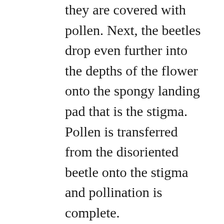they are covered with pollen. Next, the beetles drop even further into the depths of the flower onto the spongy landing pad that is the stigma. Pollen is transferred from the disoriented beetle onto the stigma and pollination is complete.
In a day or two, the flower opens completely to release the puzzled pollinators and revealing a morphology that looks strikingly like the mouth of the Demogorgon. After successful pollination, the plant spends up to 2 years forming an underground fruit that is similar in taste and texture to a potato and is edible to humans.
In addition to being a delicacy for animals, several traditional Afrikaans cookbooks